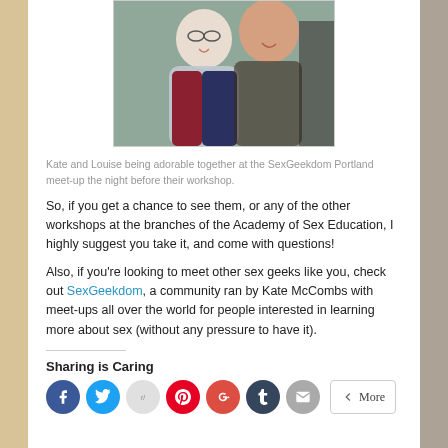[Figure (photo): Photo of Kate and Louise smiling together, taken at the SexGeekdom Portland meet-up the night before their workshop.]
Kate and Louise being adorable together at the SexGeekdom Portland meet-up the night before their workshop.
So, if you get a chance to see them, or any of the other workshops at the branches of the Academy of Sex Education, I highly suggest you take it, and come with questions!
Also, if you're looking to meet other sex geeks like you, check out SexGeekdom, a community ran by Kate McCombs with meet-ups all over the world for people interested in learning more about sex (without any pressure to have it).
Sharing is Caring
[Figure (infographic): Social sharing buttons: Facebook (blue circle), Twitter (light blue circle), Reddit (light grey circle), Pinterest (red circle), Google+ (red-orange circle), Tumblr (dark navy circle), Email (grey circle), and a More button.]